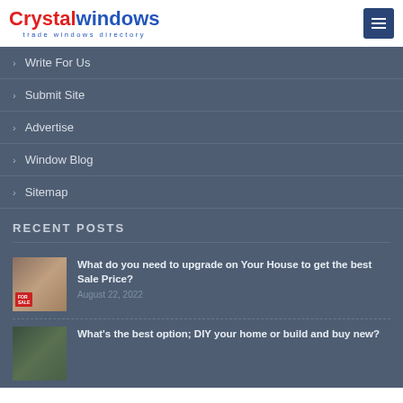Crystal windows - trade windows directory
Write For Us
Submit Site
Advertise
Window Blog
Sitemap
RECENT POSTS
What do you need to upgrade on Your House to get the best Sale Price?
August 22, 2022
What's the best option; DIY your home or build and buy new?